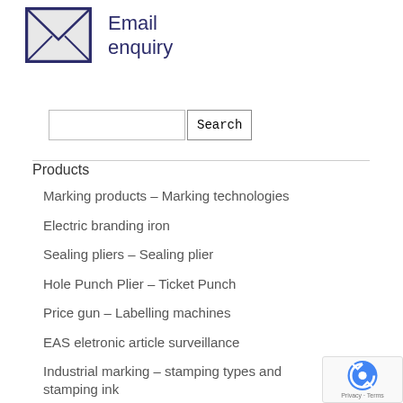[Figure (logo): Envelope icon with blue border and 'Email enquiry' text]
Email enquiry
[Figure (other): Search input field with Search button]
Products
Marking products – Marking technologies
Electric branding iron
Sealing pliers – Sealing plier
Hole Punch Plier – Ticket Punch
Price gun – Labelling machines
EAS eletronic article surveillance
Industrial marking – stamping types and stamping ink
[Figure (other): reCAPTCHA privacy badge]